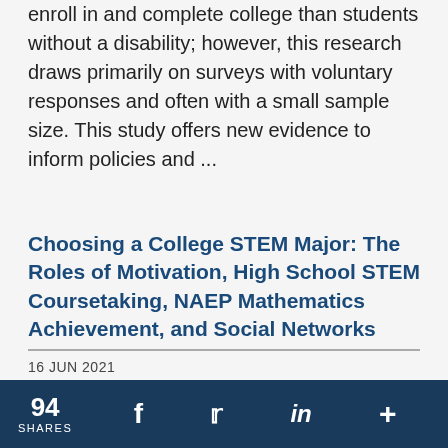enroll in and complete college than students without a disability; however, this research draws primarily on surveys with voluntary responses and often with a small sample size. This study offers new evidence to inform policies and ...
Choosing a College STEM Major: The Roles of Motivation, High School STEM Coursetaking, NAEP Mathematics Achievement, and Social Networks
16 JUN 2021
The study uses nationally representative data to investigate how high school STEM motivation, STEM course taking, STEM achievement and social networks are associated with the decision of students who
94 SHARES  f  t  in  +